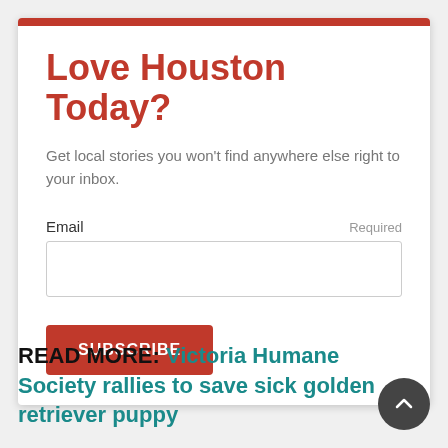Love Houston Today?
Get local stories you won't find anywhere else right to your inbox.
Email   Required
SUBSCRIBE
READ MORE: Victoria Humane Society rallies to save sick golden retriever puppy